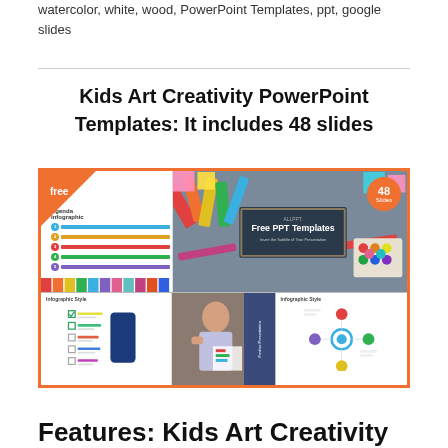watercolor, white, wood, PowerPoint Templates, ppt, google slides
Kids Art Creativity PowerPoint Templates: It includes 48 slides
[Figure (screenshot): Collage preview of Kids Art Creativity PowerPoint Template showing 'free' banner, 48 Slides badge, art supplies photo, agenda infographic slides, a child painting, and infographic style slides with colorful diagrams.]
Features: Kids Art Creativity